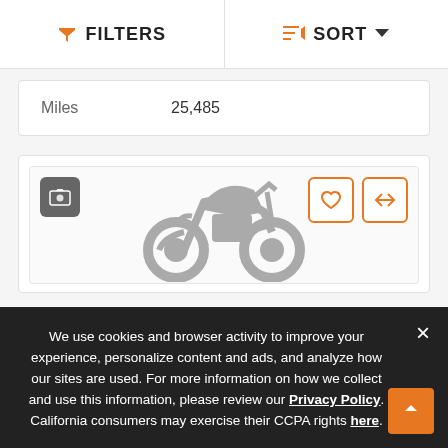FILTERS   SORT
| Miles | 25,485 |
| --- | --- |
[Figure (illustration): Motorcycle listing card with placeholder image showing a grey motorcycle silhouette and the text COMING SOON]
We use cookies and browser activity to improve your experience, personalize content and ads, and analyze how our sites are used. For more information on how we collect and use this information, please review our Privacy Policy. California consumers may exercise their CCPA rights here.